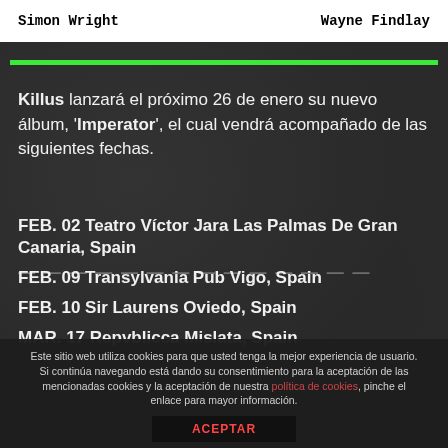Simon Wright    Wayne Findlay
Killus lanzará el próximo 26 de enero su nuevo álbum, 'Imperator', el cual vendrá acompañado de las siguientes fechas.
FEB. 02 Teatro Víctor Jara Las Palmas De Gran Canaria, Spain
FEB. 09 Transylvania Pub Vigo, Spain
FEB. 10 Sir Laurens Oviedo, Spain
MAR. 17 Repvblicca Mislata, Spain
Este sitio web utiliza cookies para que usted tenga la mejor experiencia de usuario. Si continúa navegando está dando su consentimiento para la aceptación de las mencionadas cookies y la aceptación de nuestra política de cookies, pinche el enlace para mayor información. ACEPTAR